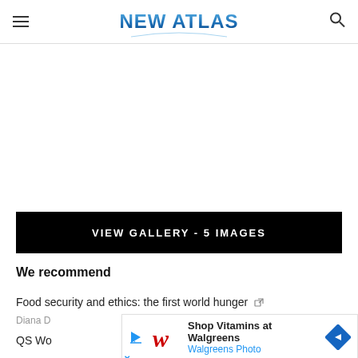NEW ATLAS
[Figure (screenshot): Large white/blank image area below the header, serving as an image gallery placeholder]
VIEW GALLERY - 5 IMAGES
We recommend
Food security and ethics: the first world hunger
Diana D... s, 2015
QS Wo...
[Figure (screenshot): Walgreens advertisement overlay: Shop Vitamins at Walgreens / Walgreens Photo]